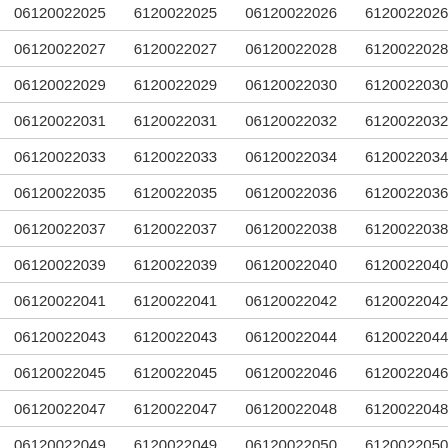| 06120022025 | 6120022025 | 06120022026 | 6120022026 |
| 06120022027 | 6120022027 | 06120022028 | 6120022028 |
| 06120022029 | 6120022029 | 06120022030 | 6120022030 |
| 06120022031 | 6120022031 | 06120022032 | 6120022032 |
| 06120022033 | 6120022033 | 06120022034 | 6120022034 |
| 06120022035 | 6120022035 | 06120022036 | 6120022036 |
| 06120022037 | 6120022037 | 06120022038 | 6120022038 |
| 06120022039 | 6120022039 | 06120022040 | 6120022040 |
| 06120022041 | 6120022041 | 06120022042 | 6120022042 |
| 06120022043 | 6120022043 | 06120022044 | 6120022044 |
| 06120022045 | 6120022045 | 06120022046 | 6120022046 |
| 06120022047 | 6120022047 | 06120022048 | 6120022048 |
| 06120022049 | 6120022049 | 06120022050 | 6120022050 |